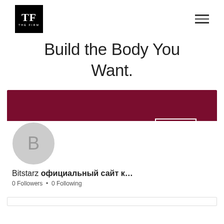[Figure (logo): The Firm logo — black square with white TF serif letters and THE FIRM text below]
Build the Body You Want.
[Figure (screenshot): Social media profile card with dark red banner, circular avatar with letter B, Follow button, more options dots button, profile name 'Bitstarz официальный сайт к…', 0 Followers • 0 Following]
Bitstarz официальный сайт к…
0 Followers • 0 Following